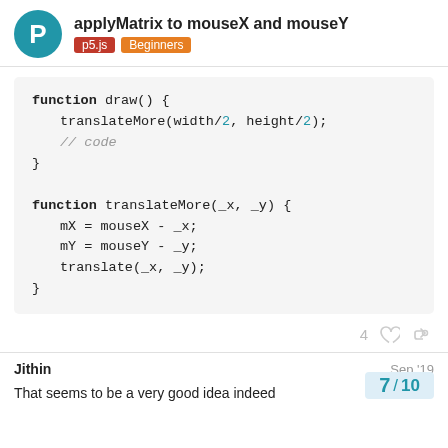applyMatrix to mouseX and mouseY | p5.js | Beginners
[Figure (screenshot): Code block showing two JavaScript functions: draw() calling translateMore(width/2, height/2) with a comment '// code', and translateMore(_x, _y) function with mX, mY assignments and translate call.]
4
Jithin
Sep '19
That seems to be a very good idea indeed
7 / 10